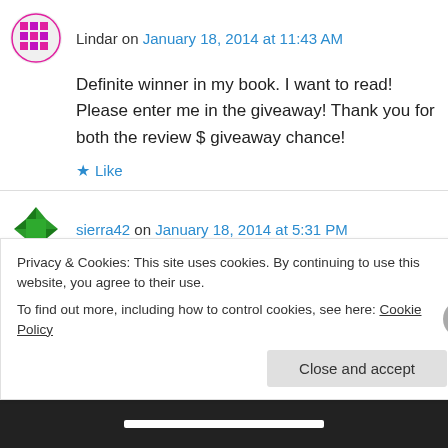Lindar on January 18, 2014 at 11:43 AM
Definite winner in my book. I want to read! Please enter me in the giveaway! Thank you for both the review $ giveaway chance!
Like
sierra42 on January 18, 2014 at 5:31 PM
Privacy & Cookies: This site uses cookies. By continuing to use this website, you agree to their use.
To find out more, including how to control cookies, see here: Cookie Policy
Close and accept